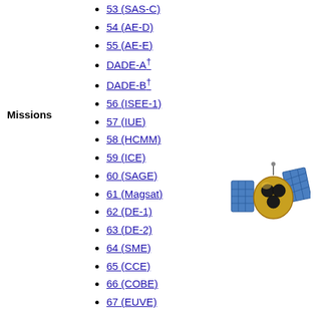Missions
53 (SAS-C)
54 (AE-D)
55 (AE-E)
DADE-A†
DADE-B†
56 (ISEE-1)
57 (IUE)
58 (HCMM)
59 (ICE)
60 (SAGE)
61 (Magsat)
62 (DE-1)
63 (DE-2)
64 (SME)
65 (CCE)
66 (COBE)
67 (EUVE)
69 (RXTE)
71 (ACE)
77 (FUSE)
78 (IMAGE)
80 (WMAP)
[Figure (illustration): Illustration of a satellite with gold body and blue solar panels]